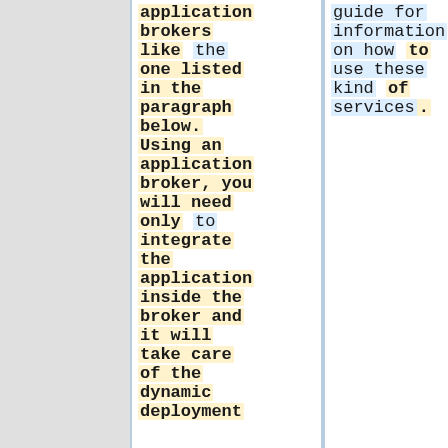application brokers like the one listed in the paragraph below. Using an application broker, you will need only to integrate the application inside the broker and it will take care of the dynamic deployment
guide for information on how to use these kind of services.